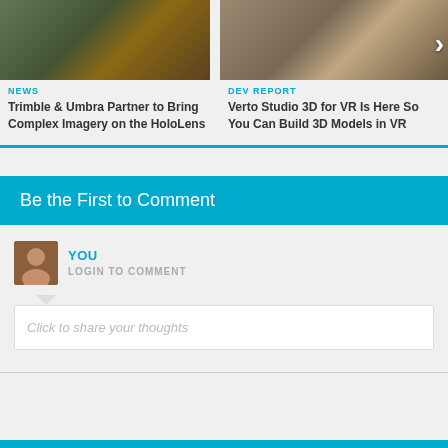[Figure (photo): 3D terrain/landscape model on a table - green and brown colors]
NEWS
Trimble & Umbra Partner to Bring Complex Imagery on the HoloLens
[Figure (photo): Person working on laptop on a desk with a forward arrow navigation button]
DEV REPORT
Verto Studio 3D for VR Is Here So You Can Build 3D Models in VR
Be the First to Comment
YOU
LOGIN TO COMMENT
Click to share your thoughts